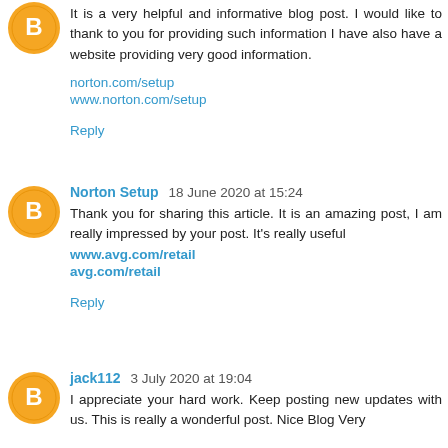It is a very helpful and informative blog post. I would like to thank to you for providing such information I have also have a website providing very good information.
norton.com/setup
www.norton.com/setup
Reply
Norton Setup  18 June 2020 at 15:24
Thank you for sharing this article. It is an amazing post, I am really impressed by your post. It's really useful
www.avg.com/retail
avg.com/retail
Reply
jack112  3 July 2020 at 19:04
I appreciate your hard work. Keep posting new updates with us. This is really a wonderful post. Nice Blog Very